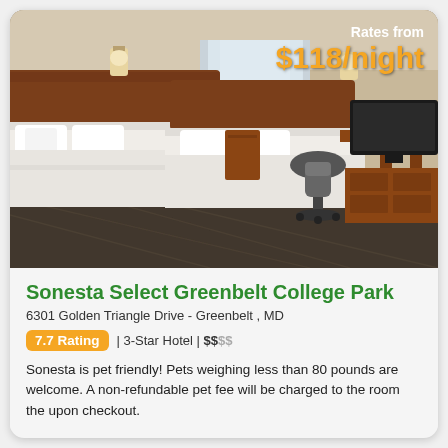[Figure (photo): Hotel room interior with two queen beds, wooden headboards, wall lamps, patterned carpet, a desk with office chair, and flat-screen TV on a wooden dresser. Large window with sheer curtains in background.]
Rates from $118/night
Sonesta Select Greenbelt College Park
6301 Golden Triangle Drive - Greenbelt , MD
7.7 Rating | 3-Star Hotel | $$$$
Sonesta is pet friendly! Pets weighing less than 80 pounds are welcome. A non-refundable pet fee will be charged to the room the upon checkout.